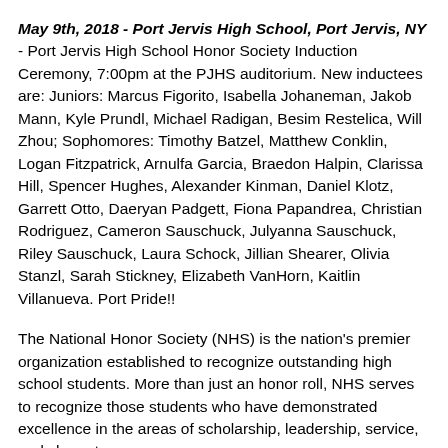May 9th, 2018 - Port Jervis High School, Port Jervis, NY - Port Jervis High School Honor Society Induction Ceremony, 7:00pm at the PJHS auditorium. New inductees are: Juniors: Marcus Figorito, Isabella Johaneman, Jakob Mann, Kyle Prundl, Michael Radigan, Besim Restelica, Will Zhou; Sophomores: Timothy Batzel, Matthew Conklin, Logan Fitzpatrick, Arnulfa Garcia, Braedon Halpin, Clarissa Hill, Spencer Hughes, Alexander Kinman, Daniel Klotz, Garrett Otto, Daeryan Padgett, Fiona Papandrea, Christian Rodriguez, Cameron Sauschuck, Julyanna Sauschuck, Riley Sauschuck, Laura Schock, Jillian Shearer, Olivia Stanzl, Sarah Stickney, Elizabeth VanHorn, Kaitlin Villanueva. Port Pride!!
The National Honor Society (NHS) is the nation's premier organization established to recognize outstanding high school students. More than just an honor roll, NHS serves to recognize those students who have demonstrated excellence in the areas of scholarship, leadership, service, and character.